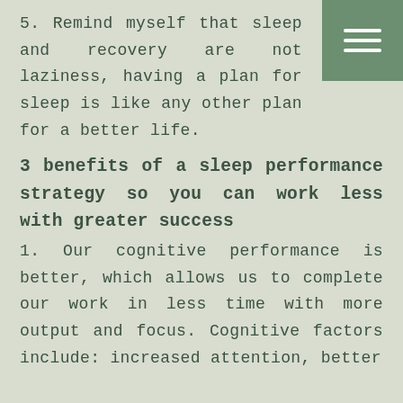5. Remind myself that sleep and recovery are not laziness, having a plan for sleep is like any other plan for a better life.
3 benefits of a sleep performance strategy so you can work less with greater success
1. Our cognitive performance is better, which allows us to complete our work in less time with more output and focus. Cognitive factors include: increased attention, better